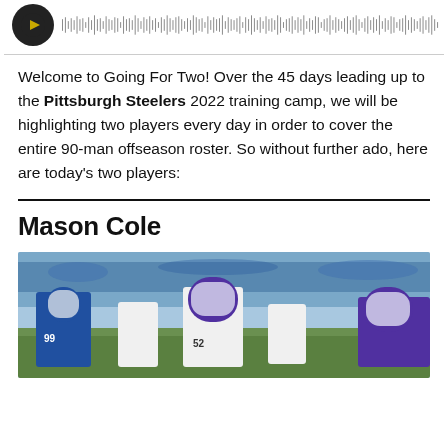[Figure (other): Podcast player bar with circular dark logo icon and waveform/progress bar]
Welcome to Going For Two! Over the 45 days leading up to the Pittsburgh Steelers 2022 training camp, we will be highlighting two players every day in order to cover the entire 90-man offseason roster. So without further ado, here are today’s two players:
Mason Cole
[Figure (photo): Football game action photo showing Minnesota Vikings players including #52 in white uniform and #99 in blue Chargers uniform on the field]